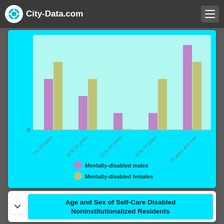City-Data.com
[Figure (grouped-bar-chart): Age and Sex of Mentally Disabled Noninstitutionalized Residents]
Age and Sex of Self-Care Disabled Noninstitutionalized Residents